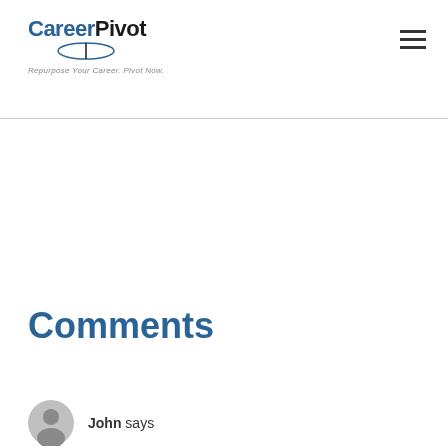CareerPivot — Repurpose Your Career. Pivot Now.
Comments
John says